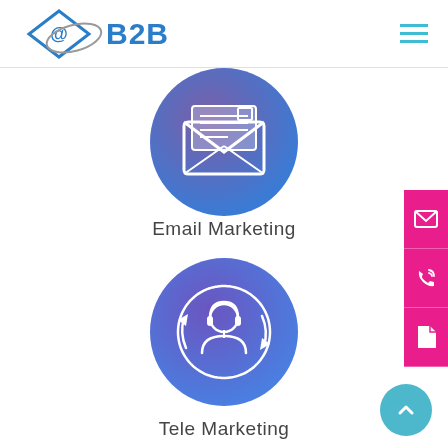[Figure (logo): B2B logo with diamond @ symbol on left and stylized B2B text on right in blue]
[Figure (illustration): Circular gradient icon (purple-blue) with email envelope and document]
Email Marketing
[Figure (illustration): Circular gradient icon (purple-blue) with person headset and circular arrows]
Tele Marketing
[Figure (infographic): Right sidebar with three pink/magenta buttons: email icon, phone/call icon, document icon]
[Figure (other): Teal scroll-to-top circular button with upward chevron arrow]